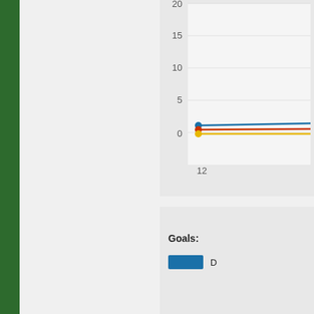[Figure (line-chart): Partial line chart showing y-axis values 0,5,10,15,20 and x-axis label 12. Three colored lines (blue, red, yellow/gold) converging near y=1-2 at x=12.]
[Figure (bar-chart): Partial bar chart with a single blue horizontal bar visible]
Goals:
[Figure (other): Legend item: blue rectangle labeled D]